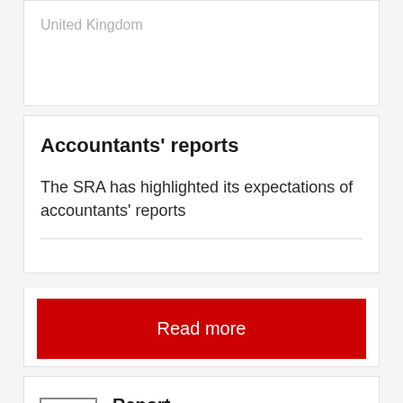United Kingdom
Accountants' reports
The SRA has highlighted its expectations of accountants' reports
Read more
Report
7 May 2018
Business law
Factsheet